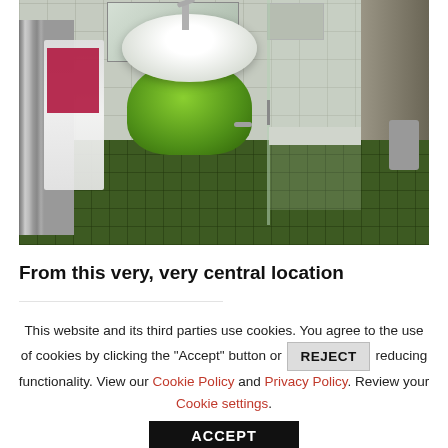[Figure (photo): A hotel bathroom with green vanity cabinet, white sink, green tiled floor, white tiled walls, towel rack with white and pink/red towels on the left, and a glass shower enclosure on the right.]
From this very, very central location
This website and its third parties use cookies. You agree to the use of cookies by clicking the "Accept" button or REJECT reducing functionality. View our Cookie Policy and Privacy Policy. Review your Cookie settings.